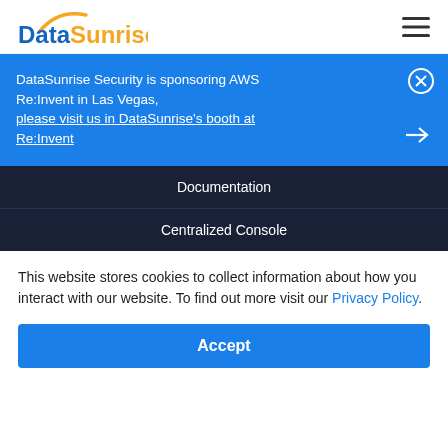DataSunrise (logo)
DataSunrise Security is sponsoring AWS Re:Invent in Las Vegas, please visit us in DataSunrise's booth at Re:Invent
Documentation
Centralized Console
This website stores cookies to collect information about how you interact with our website. To find out more visit our Privacy Policy.
Accept